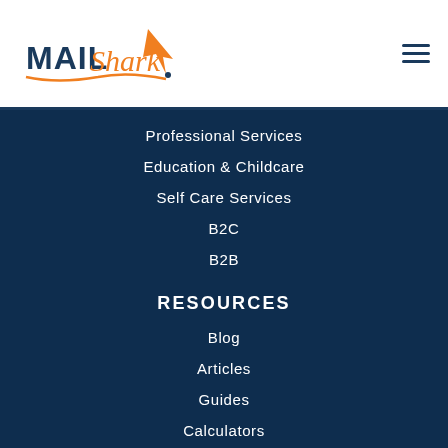[Figure (logo): Mail Shark logo with shark graphic in orange and dark blue text]
Professional Services
Education & Childcare
Self Care Services
B2C
B2B
RESOURCES
Blog
Articles
Guides
Calculators
FAQs
Design Samples
Design Templates